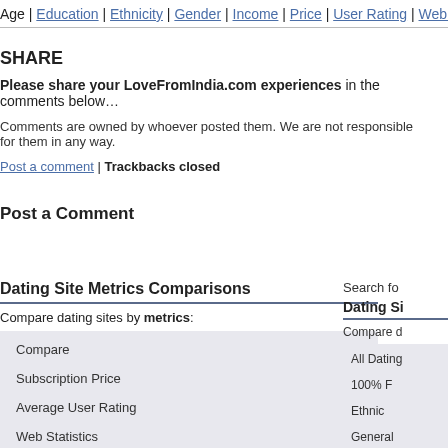Age | Education | Ethnicity | Gender | Income | Price | User Rating | Web Stats
SHARE
Please share your LoveFromIndia.com experiences in the comments below…
Comments are owned by whoever posted them. We are not responsible for them in any way.
Post a comment | Trackbacks closed
Post a Comment
Dating Site Metrics Comparisons
Compare dating sites by metrics:
Compare
Subscription Price
Average User Rating
Web Statistics
Age Distribution
Search fo
Dating Si
Compare d
All Dating
100% F
Ethnic
General
Million C